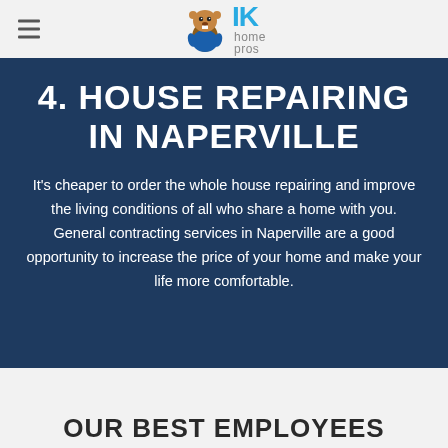IK home pros
4. HOUSE REPAIRING IN NAPERVILLE
It's cheaper to order the whole house repairing and improve the living conditions of all who share a home with you. General contracting services in Naperville are a good opportunity to increase the price of your home and make your life more comfortable.
OUR BEST EMPLOYEES